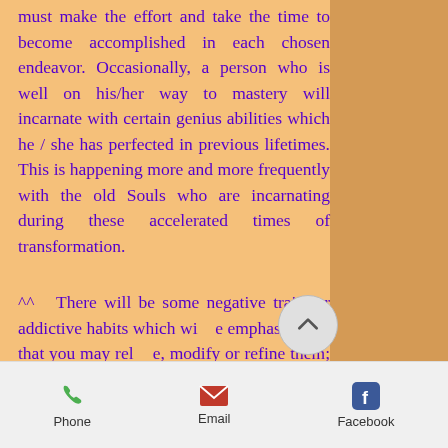must make the effort and take the time to become accomplished in each chosen endeavor. Occasionally, a person who is well on his/her way to mastery will incarnate with certain genius abilities which he / she has perfected in previous lifetimes. This is happening more and more frequently with the old Souls who are incarnating during these accelerated times of transformation.
^^ There will be some negative traits or addictive habits which will be emphasized so that you may release, modify or refine them; thereby, you
Phone  Email  Facebook